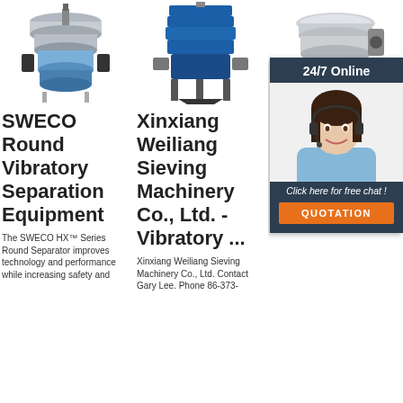[Figure (photo): SWECO round vibratory separator machine with blue base]
[Figure (photo): Xinxiang Weiliang blue industrial sieving machine]
[Figure (photo): Stainless steel round vibrating screen machine]
[Figure (photo): 24/7 Online customer service agent overlay with chat and quotation buttons]
SWECO Round Vibratory Separation Equipment
Xinxiang Weiliang Sieving Machinery Co., Ltd. - Vibratory ...
An Yu M Lt M Stainless ...
The SWECO HX™ Series Round Separator improves technology and performance while increasing safety and
Xinxiang Weiliang Sieving Machinery Co., Ltd. Contact Gary Lee. Phone 86-373-
FOB Price: USD $1.49 Piece. Min. Order: 100 Pieces. Superhero Gir